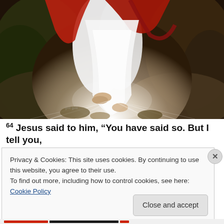[Figure (illustration): A religious painting showing the lower body and feet of a figure wearing white robes and a red cloak, ascending or walking, with rays of light emanating from below. Rocky terrain and green foliage visible on the sides.]
64 Jesus said to him, “You have said so. But I tell you,
Privacy & Cookies: This site uses cookies. By continuing to use this website, you agree to their use.
To find out more, including how to control cookies, see here: Cookie Policy
Close and accept